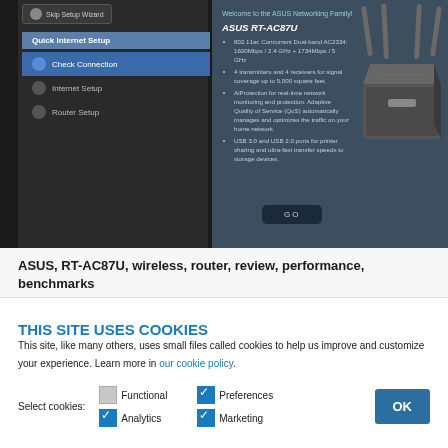[Figure (screenshot): ASUS router setup wizard interface showing Quick Internet Setup sidebar with Check Connection highlighted, and main content area showing ASUS RT-AC87U product details with bullet points and a GO button. A rendered image of the ASUS RT-AC87U router is shown on the right side.]
ASUS, RT-AC87U, wireless, router, review, performance, benchmarks
THIS SITE USES COOKIES
This site, like many others, uses small files called cookies to help us improve and customize your experience. Learn more in our cookie policy.
Select cookies:  Functional  Preferences  Analytics  Marketing  OK